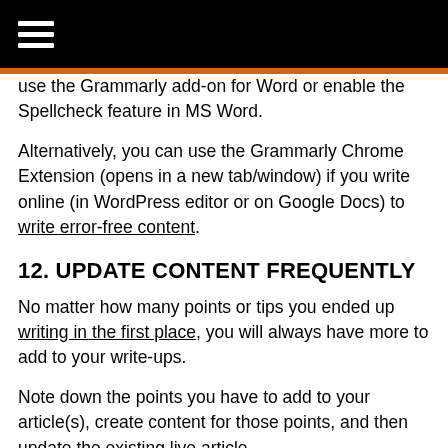≡
use the Grammarly add-on for Word or enable the Spellcheck feature in MS Word.
Alternatively, you can use the Grammarly Chrome Extension (opens in a new tab/window) if you write online (in WordPress editor or on Google Docs) to write error-free content.
12. UPDATE CONTENT FREQUENTLY
No matter how many points or tips you ended up writing in the first place, you will always have more to add to your write-ups.
Note down the points you have to add to your article(s), create content for those points, and then update the existing live article.
Based on your interest and how much information you can gather, you may want to update an article multiple times.
13. INSERT RELEVANT IMAGES WHEREVER APPLICABLE